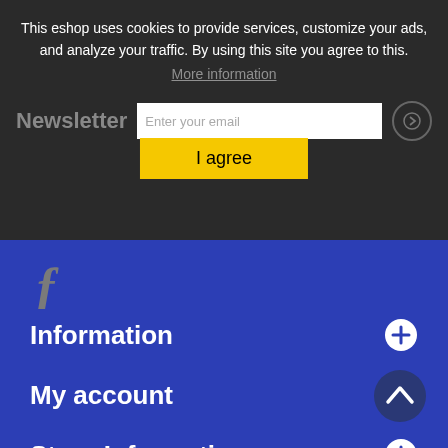This eshop uses cookies to provide services, customize your ads, and analyze your traffic. By using this site you agree to this.
More information
Newsletter
I agree
[Figure (logo): Facebook 'f' logo icon in gray/italic style]
Information
My account
Store Information
[Figure (other): Back to top arrow button, circular dark blue]